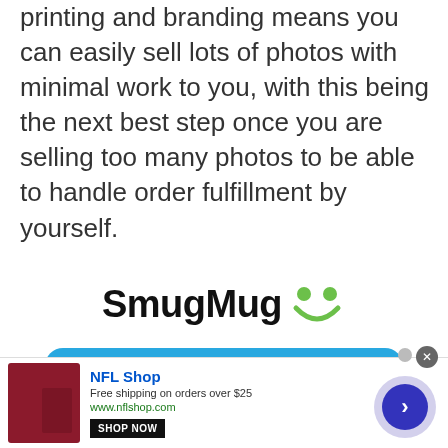printing and branding means you can easily sell lots of photos with minimal work to you, with this being the next best step once you are selling too many photos to be able to handle order fulfillment by yourself.
[Figure (logo): SmugMug logo with green smiley face icon]
Get 15% off any SmugMug plan by clicking here!
[Figure (infographic): NFL Shop advertisement with red jersey image, shop now button, free shipping offer, and navigation arrow]